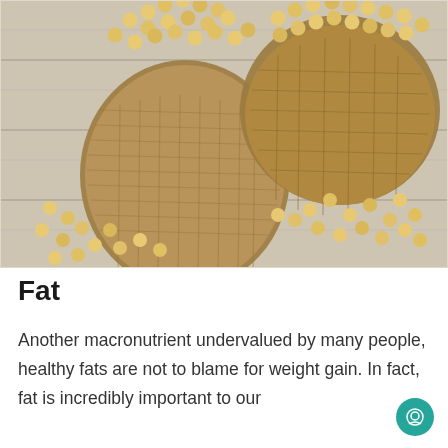[Figure (photo): Photograph of soybeans spilling out of two burlap sacks onto a light wooden surface, viewed from above and slightly to the side.]
Fat
Another macronutrient undervalued by many people, healthy fats are not to blame for weight gain. In fact, fat is incredibly important to our